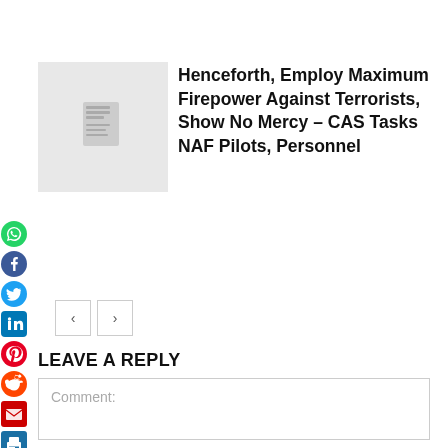[Figure (illustration): Article thumbnail placeholder image with document icon]
Henceforth, Employ Maximum Firepower Against Terrorists, Show No Mercy – CAS Tasks NAF Pilots, Personnel
[Figure (other): Social media share icons: WhatsApp, Facebook, Twitter, LinkedIn, Pinterest, Reddit, Email, Print]
[Figure (other): Previous and next navigation arrow buttons]
LEAVE A REPLY
Comment: